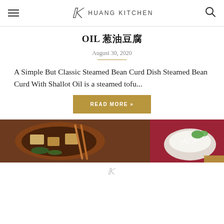HUANG KITCHEN
OIL 葱油豆腐
August 30, 2020
A Simple But Classic Steamed Bean Curd Dish Steamed Bean Curd With Shallot Oil is a steamed tofu...
READ MORE »
[Figure (photo): Food photo showing a clay pot dish with tofu and chopsticks alongside a bowl of white rice with green herb garnish]
Huang Kitchen logo mark